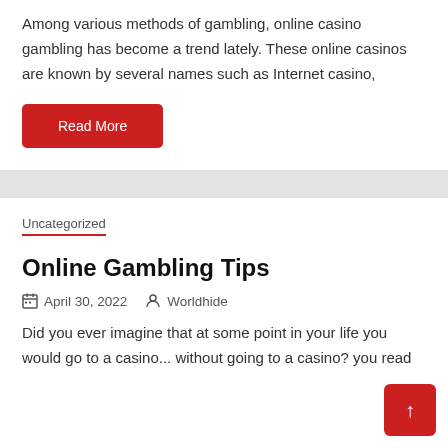Among various methods of gambling, online casino gambling has become a trend lately. These online casinos are known by several names such as Internet casino,
Read More
Uncategorized
Online Gambling Tips
April 30, 2022  Worldhide
Did you ever imagine that at some point in your life you would go to a casino... without going to a casino? you read